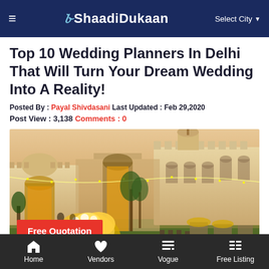ShaadiDukaan — Select City
Top 10 Wedding Planners In Delhi That Will Turn Your Dream Wedding Into A Reality!
Posted By : Payal Shivdasani Last Updated : Feb 29,2020
Post View : 3,138 Comments : 0
[Figure (photo): A decorated Indian wedding venue with ornate palace-style architecture, floral arrangements, and outdoor seating. A 'Free Quotation' button overlay appears in the lower left.]
Home  Vendors  Vogue  Free Listing